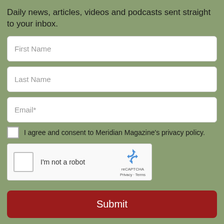Daily news, articles, videos and podcasts sent straight to your inbox.
First Name
Last Name
Email*
I agree and consent to Meridian Magazine's privacy policy.
[Figure (other): reCAPTCHA widget with checkbox labeled 'I'm not a robot' and reCAPTCHA logo with Privacy and Terms links]
Submit